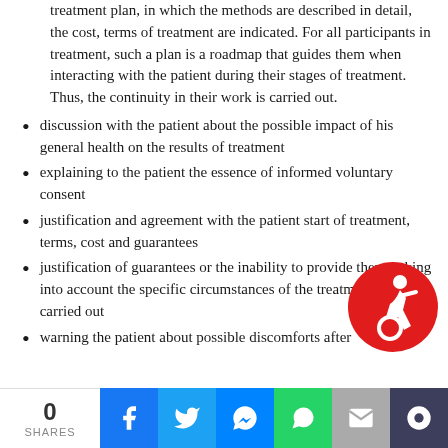treatment plan, in which the methods are described in detail, the cost, terms of treatment are indicated. For all participants in treatment, such a plan is a roadmap that guides them when interacting with the patient during their stages of treatment. Thus, the continuity in their work is carried out.
discussion with the patient about the possible impact of his general health on the results of treatment
explaining to the patient the essence of informed voluntary consent
justification and agreement with the patient start of treatment, terms, cost and guarantees
justification of guarantees or the inability to provide them, taking into account the specific circumstances of the treatment being carried out
warning the patient about possible discomforts after
[Figure (illustration): Accessibility icon — red circle with white wheelchair user symbol (dynamic/modern style)]
0 SHARES | Facebook | Twitter | Messenger | WhatsApp | Email | Chat